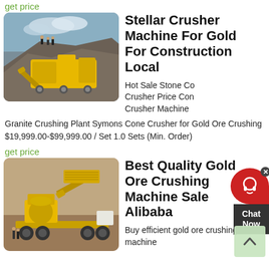get price
[Figure (photo): Yellow mobile stone crusher machine on a rocky construction/mining site with workers on top of a gravel mound]
Stellar Crusher Machine For Gold For Construction Local
Hot Sale Stone Co... Crusher Price Con... Crusher Machine ...
Granite Crushing Plant Symons Cone Crusher for Gold Ore Crushing $19,999.00-$99,999.00 / Set 1.0 Sets (Min. Order)
get price
[Figure (photo): Yellow gold ore crushing machine on a trailer/wheels at a mining site with workers nearby]
Best Quality Gold Ore Crushing Machine Sale Alibaba
Buy efficient gold ore crushing machine